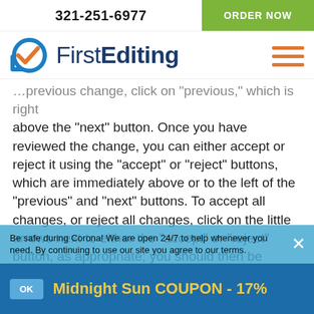321-251-6977  |  ORDER NOW
[Figure (logo): FirstEditing logo with blue circular checkmark icon and orange hamburger menu icon]
previous change, click on “previous,” which is right above the “next” button.  Once you have reviewed the change, you can either accept or reject it using the “accept” or “reject” buttons, which are immediately above or to the left of the “previous” and “next” buttons.  To accept all changes, or reject all changes, click on the little arrows next to either the “accept” or “reject” button, as appropriate; you should then be presented with the option of either accepting or rejecting all changes.
There are also other options that you may wish to explore with the editor’s revisions.  For example, in the “tracking” section immediately to the
Be safe during Corona! We are open 24/7 to help whenever you need. By continuing to use our site you agree to our terms.
Midnight Sun COUPON - 17%